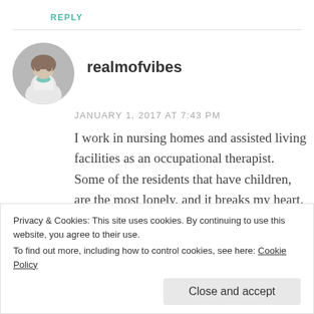REPLY
[Figure (photo): Circular avatar photo of a woman with long hair wearing a white t-shirt with a teal tree graphic]
realmofvibes
JANUARY 1, 2017 AT 7:43 PM
I work in nursing homes and assisted living facilities as an occupational therapist. Some of the residents that have children, are the most lonely, and it breaks my heart. Just because you have kids doesn't mean
comment and perspective.
Privacy & Cookies: This site uses cookies. By continuing to use this website, you agree to their use.
To find out more, including how to control cookies, see here: Cookie Policy
Close and accept